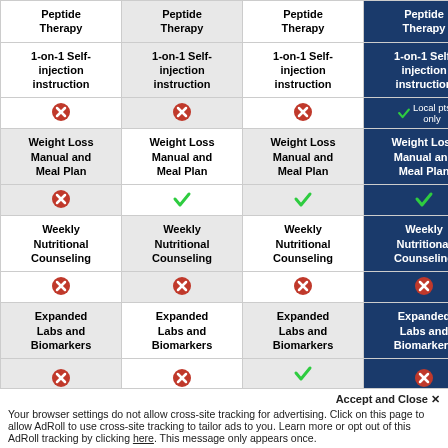| Peptide Therapy | Peptide Therapy | Peptide Therapy | Peptide Therapy |
| --- | --- | --- | --- |
| 1-on-1 Self-injection instruction | 1-on-1 Self-injection instruction | 1-on-1 Self-injection instruction | 1-on-1 Self-injection instruction |
| ✗ | ✗ | ✗ | ✓ Local pts only |
| Weight Loss Manual and Meal Plan | Weight Loss Manual and Meal Plan | Weight Loss Manual and Meal Plan | Weight Loss Manual and Meal Plan |
| ✗ | ✓ | ✓ | ✓ |
| Weekly Nutritional Counseling | Weekly Nutritional Counseling | Weekly Nutritional Counseling | Weekly Nutritional Counseling |
| ✗ | ✗ | ✗ | ✗ |
| Expanded Labs and Biomarkers | Expanded Labs and Biomarkers | Expanded Labs and Biomarkers | Expanded Labs and Biomarkers |
| ✗ | ✗ | ✓ | ✗ |
| Expanded... | Expanded... | Expanded... |  |
Accept and Close ✕
Your browser settings do not allow cross-site tracking for advertising. Click on this page to allow AdRoll to use cross-site tracking to tailor ads to you. Learn more or opt out of this AdRoll tracking by clicking here. This message only appears once.